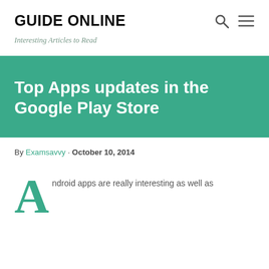GUIDE ONLINE
Interesting Articles to Read
Top Apps updates in the Google Play Store
By Examsavvy · October 10, 2014
Android apps are really interesting as well as